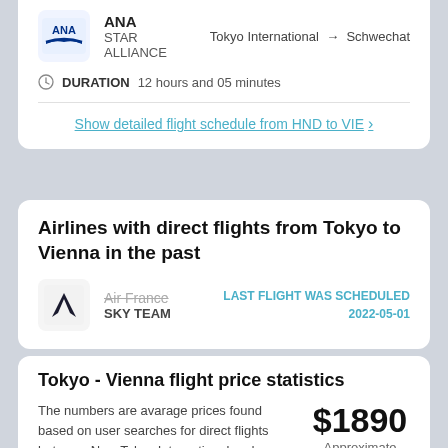ANA STAR ALLIANCE — Tokyo International → Schwechat
DURATION  12 hours and 05 minutes
Show detailed flight schedule from HND to VIE ›
Airlines with direct flights from Tokyo to Vienna in the past
Air France (strikethrough) SKY TEAM — LAST FLIGHT WAS SCHEDULED 2022-05-01
Tokyo - Vienna flight price statistics
The numbers are avarage prices found based on user searches for direct flights between New Tokyo International and Schwechat. Its calculated from the cheapest prices found per
$1890 Approximate